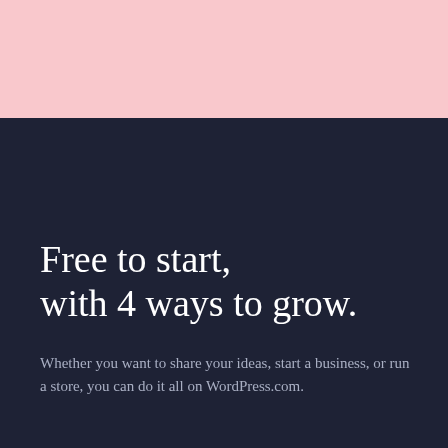[Figure (other): Pink decorative bar at top of page]
Free to start, with 4 ways to grow.
Whether you want to share your ideas, start a business, or run a store, you can do it all on WordPress.com.